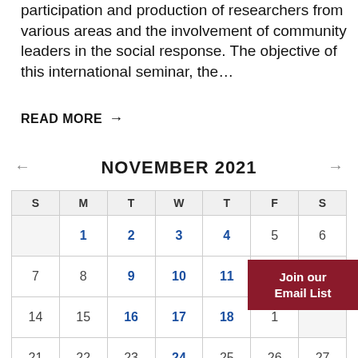participation and production of researchers from various areas and the involvement of community leaders in the social response. The objective of this international seminar, the…
READ MORE →
NOVEMBER 2021
| S | M | T | W | T | F | S |
| --- | --- | --- | --- | --- | --- | --- |
|  | 1 | 2 | 3 | 4 | 5 | 6 |
| 7 | 8 | 9 | 10 | 11 | 1 |  |
| 14 | 15 | 16 | 17 | 18 | 1 |  |
| 21 | 22 | 23 | 24 | 25 | 26 | 27 |
Join our Email List